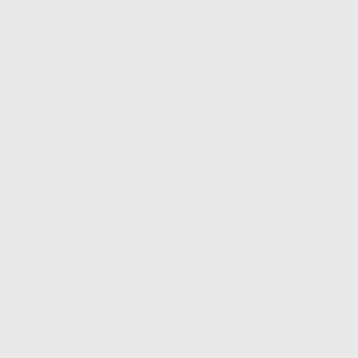Mo
Lib
Uni
Rep
of
Go
[Figure (photo): Flag image - white background with red star in upper left and red diagonal stripe in lower right]
Fachumonn
Ambassador
Posts: 1015
Founded: Apr 11, 2021
Left-wing Utopia
QUOTE
by Fachumonn
» Fri May 13, 2022 5:20 pm
Su
in
pri
Acc | SC Re Thi